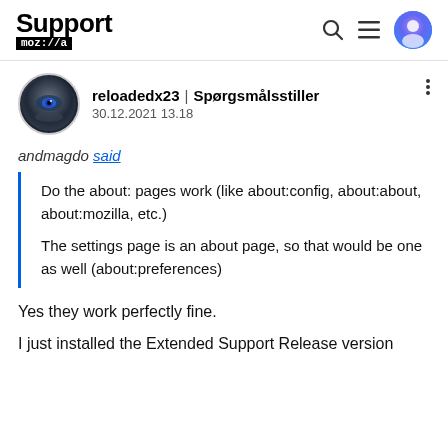Support moz://a
reloadedx23 | Spørgsmålsstiller
30.12.2021 13.18
andmagdo said
Do the about: pages work (like about:config, about:about, about:mozilla, etc.)

The settings page is an about page, so that would be one as well (about:preferences)
Yes they work perfectly fine.
I just installed the Extended Support Release version of Firefox for Windows in the...